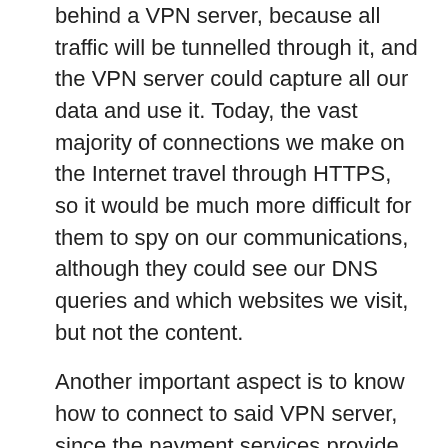behind a VPN server, because all traffic will be tunnelled through it, and the VPN server could capture all our data and use it. Today, the vast majority of connections we make on the Internet travel through HTTPS, so it would be much more difficult for them to spy on our communications, although they could see our DNS queries and which websites we visit, but not the content.
Another important aspect is to know how to connect to said VPN server, since the payment services provide us with the necessary software for this, and even an app for our smartphone.
Therefore, before connecting to a free VPN we must take into account several factors:
Connection speed
Connection latency